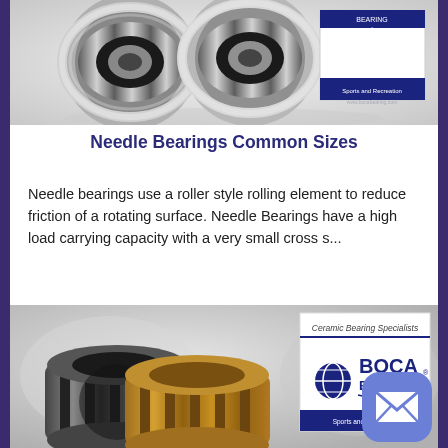[Figure (photo): Two cylindrical needle roller bearings with ribbed outer surface on a white/grey background, with a Boca Bearing product box visible behind them]
Needle Bearings Common Sizes
Needle bearings use a roller style rolling element to reduce friction of a rotating surface. Needle Bearings have a high load carrying capacity with a very small cross s...
[Figure (photo): Two needle roller bearing cages (one dark grey, one gold/brass colored) with a Boca Bearing branded box showing 'Ceramic Bearing Specialists' text and the Boca Bearing logo with globe icon]